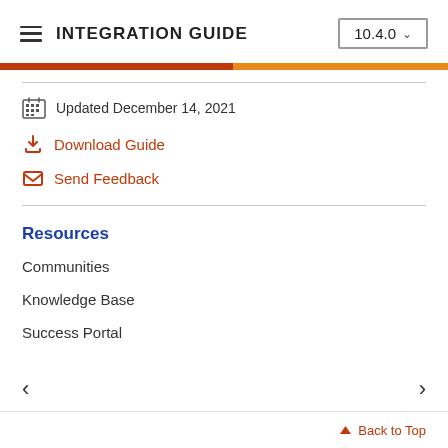INTEGRATION GUIDE  10.4.0
Updated December 14, 2021
Download Guide
Send Feedback
Resources
Communities
Knowledge Base
Success Portal
Back to Top